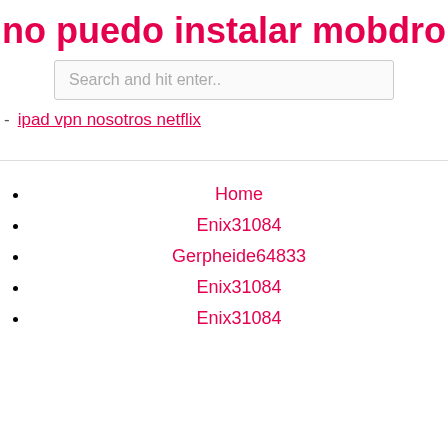no puedo instalar mobdro en android
Search and hit enter..
ipad vpn nosotros netflix
Home
Enix31084
Gerpheide64833
Enix31084
Enix31084